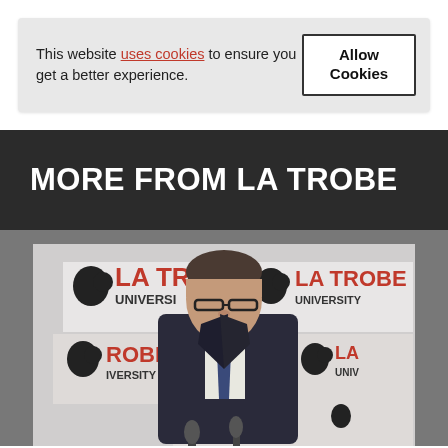This website uses cookies to ensure you get a better experience.
Allow Cookies
MORE FROM LA TROBE
[Figure (photo): A man in a suit and glasses speaking at a podium in front of La Trobe University branded backdrop, with microphones in front of him]